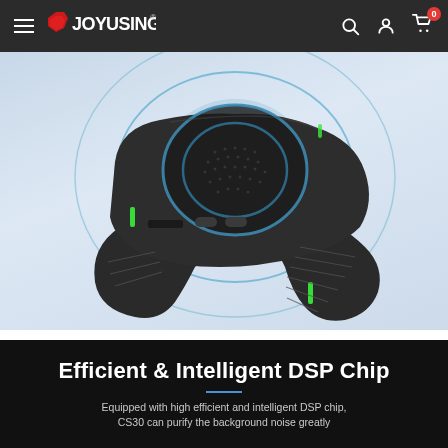JOYUSING navigation bar with hamburger menu, search, account, and cart icons
[Figure (photo): Conference speakerphone device (Joyusing CS30) shown from above on a light blue background with blue circular sound wave rings and green LED indicators]
Efficient & Intelligent DSP Chip
Equipped with high efficient and intelligent DSP chip, CS30 can purify the background noise greatly